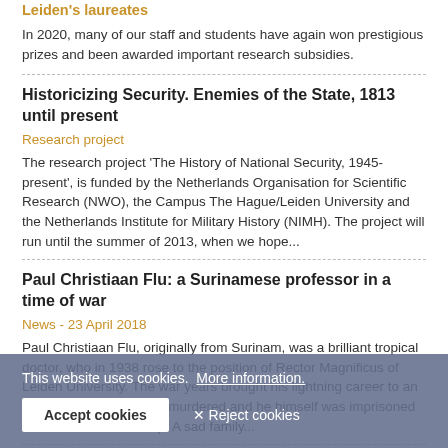Leiden's laureates
In 2020, many of our staff and students have again won prestigious prizes and been awarded important research subsidies.
Historicizing Security. Enemies of the State, 1813 until present
Research project
The research project 'The History of National Security, 1945-present', is funded by the Netherlands Organisation for Scientific Research (NWO), the Campus The Hague/Leiden University and the Netherlands Institute for Military History (NIMH). The project will run until the summer of 2013, when we hope...
Paul Christiaan Flu: a Surinamese professor in a time of war
News - 23 April 2018
Paul Christiaan Flu, originally from Surinam, was a brilliant tropical doctor, who in 1938 rose to the position of Rector Magnificus of Leiden University. The war years brought his lightning career to an abrupt end: his son was murdered and he himself was imprisoned in a concentration camp. A sad family...
GP in Spain in times of corona
This website uses cookies.  More information.
Accept cookies   ✕ Reject cookies